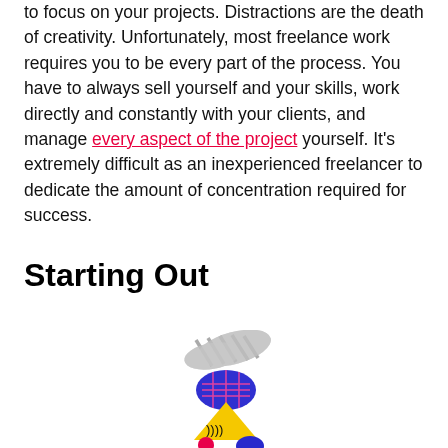to focus on your projects. Distractions are the death of creativity. Unfortunately, most freelance work requires you to be every part of the process. You have to always sell yourself and your skills, work directly and constantly with your clients, and manage every aspect of the project yourself. It's extremely difficult as an inexperienced freelancer to dedicate the amount of concentration required for success.
Starting Out
[Figure (illustration): Abstract stacked shapes illustration: a gray cloud-like shape at top, a blue oval with pink grid lines in the middle, a yellow triangle with black crescent patterns below, a pink circle and partial blue shape at the bottom.]